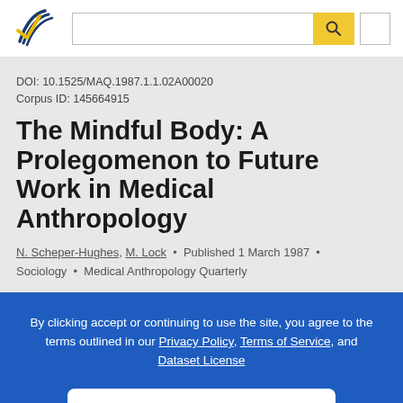Semantic Scholar search bar with logo
DOI: 10.1525/MAQ.1987.1.1.02A00020
Corpus ID: 145664915
The Mindful Body: A Prolegomenon to Future Work in Medical Anthropology
N. Scheper-Hughes, M. Lock • Published 1 March 1987 • Sociology • Medical Anthropology Quarterly
By clicking accept or continuing to use the site, you agree to the terms outlined in our Privacy Policy, Terms of Service, and Dataset License
ACCEPT & CONTINUE